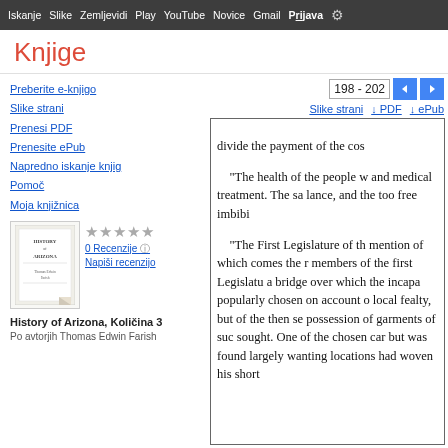Iskanje  Slike  Zemljevidi  Play  YouTube  Novice  Gmail  Prijava  ⚙
Knjige
Preberite e-knjigo
Slike strani
Prenesi PDF
Prenesite ePub
Napredno iskanje knjig
Pomoč
Moja knjižnica
0 Recenzije
Napiši recenzijo
History of Arizona, Količina 3
Po avtorjih Thomas Edwin Farish
198 - 202
Slike strani  ↓ PDF  ↓ ePub
divide the payment of the cos
"The health of the people w and medical treatment. The sa lance, and the too free imbibi
"The First Legislature of th mention of which comes the r members of the first Legislatu a bridge over which the incapa popularly chosen on account o local fealty, but of the then se possession of garments of suc sought. One of the chosen car but was found largely wanting locations had woven his short